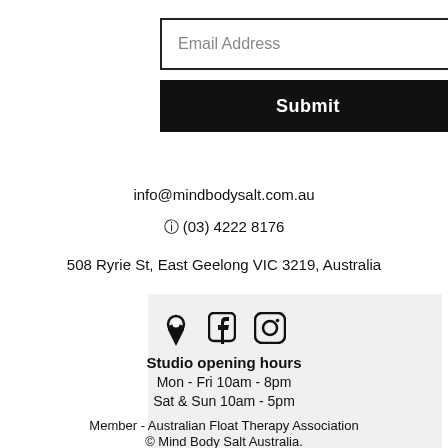Email Address
Submit
info@mindbodysalt.com.au
☎ (03) 4222 8176
508 Ryrie St, East Geelong VIC 3219, Australia
[Figure (illustration): Social media icons: map pin, Facebook, Instagram]
Studio opening hours
Mon - Fri 10am - 8pm
Sat & Sun 10am - 5pm
Member - Australian Float Therapy Association
© Mind Body Salt Australia.